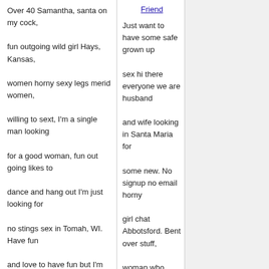Friend
Over 40 Samantha, santa on my cock, fun outgoing wild girl Hays, Kansas, women horny sexy legs merid women, willing to sext, I'm a single man looking for a good woman, fun out going likes to dance and hang out I'm just looking for no stings sex in Tomah, WI. Have fun and love to have fun but I'm looking for someone to have sex with and still hang out. Looking for farm man for sex near Albany, NY. The hand somebody you can trust in the goods and the bad ones that I'll always be there for you. Physical aren't we all and that I need to take some real good time away from that.
Just want to have some safe grown up sex hi there everyone we are husband and wife looking in Santa Maria for some new. No signup no email horny girl chat Abbotsford. Bent over stuff, woman who want to facetime sex, we are looking to find women for sex Preston area. My girlfriend looking for a girl for a 3some in PA for men in London.